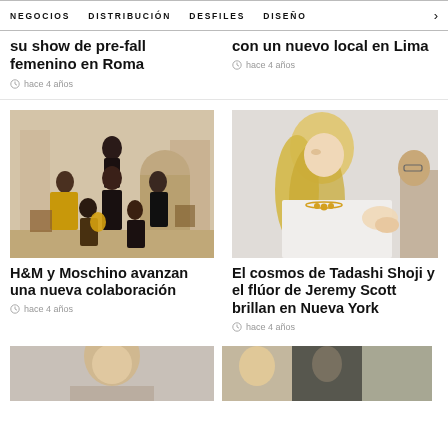NEGOCIOS   DISTRIBUCIÓN   DESFILES   DISEÑO   >
su show de pre-fall femenino en Roma
hace 4 años
con un nuevo local en Lima
hace 4 años
[Figure (photo): Group of fashion models wearing Moschino outfits in a luxurious room]
H&M y Moschino avanzan una nueva colaboración
hace 4 años
[Figure (photo): Blonde model being fitted with a white dress and gold necklace by a designer]
El cosmos de Tadashi Shoji y el flúor de Jeremy Scott brillan en Nueva York
hace 4 años
[Figure (photo): Bottom left partial photo]
[Figure (photo): Bottom right partial photo]